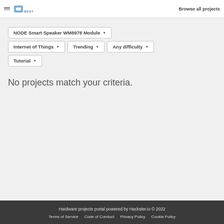Browse all projects
NODE Smart Speaker WM8978 Module ▾
Internet of Things ▾   Trending ▾   Any difficulty ▾
Tutorial ▾
No projects match your criteria.
Hardware projects portal powered by Hackster.io © 2022
Terms of Service   Code of Conduct   Privacy Policy   Cookie Policy